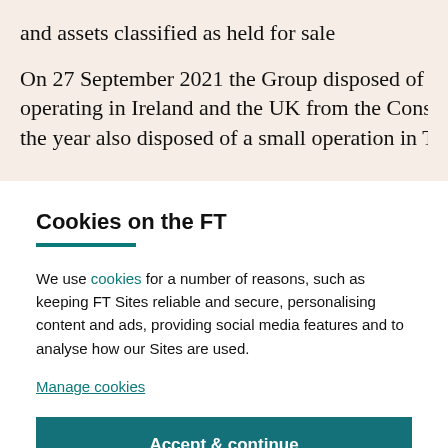and assets classified as held for sale
On 27 September 2021 the Group disposed of its Meats and operating in Ireland and the UK from the Consumer Foods the year also disposed of a small operation in Taste & Nutri
Cookies on the FT
We use cookies for a number of reasons, such as keeping FT Sites reliable and secure, personalising content and ads, providing social media features and to analyse how our Sites are used.
Manage cookies
Accept & continue